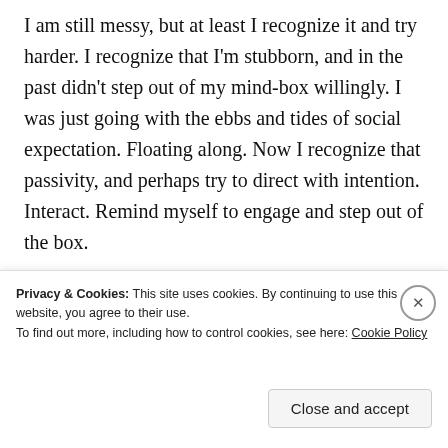I am still messy, but at least I recognize it and try harder. I recognize that I'm stubborn, and in the past didn't step out of my mind-box willingly. I was just going with the ebbs and tides of social expectation. Floating along. Now I recognize that passivity, and perhaps try to direct with intention. Interact. Remind myself to engage and step out of the box.
[Figure (other): Advertisement banner with orange and pink gradient background showing bold text 'in the back.']
Privacy & Cookies: This site uses cookies. By continuing to use this website, you agree to their use. To find out more, including how to control cookies, see here: Cookie Policy